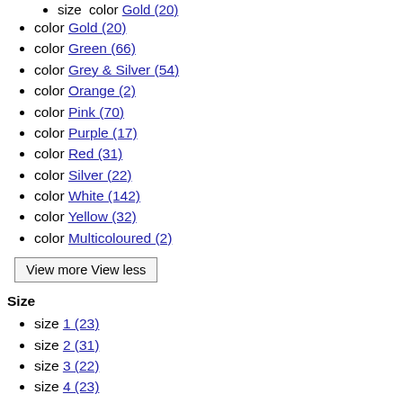color Gold (20)
color Green (66)
color Grey & Silver (54)
color Orange (2)
color Pink (70)
color Purple (17)
color Red (31)
color Silver (22)
color White (142)
color Yellow (32)
color Multicoloured (2)
View more View less
Size
size 1 (23)
size 2 (31)
size 3 (22)
size 4 (23)
size 30 (3)
size 32 (3)
size 34 (30)
size 35 (38)